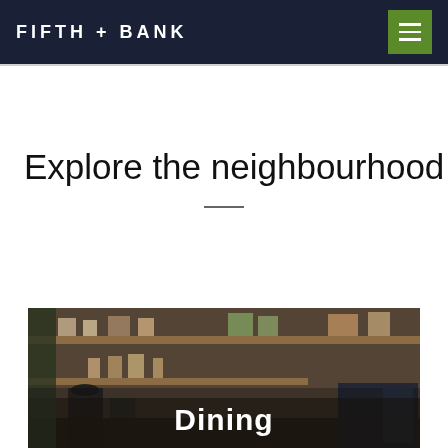FIFTH + BANK
Explore the neighbourhood
[Figure (photo): Interior photo of a cafe/restaurant kitchen with wooden shelving, coffee equipment, and packaged goods. Text overlay reads 'Dining'.]